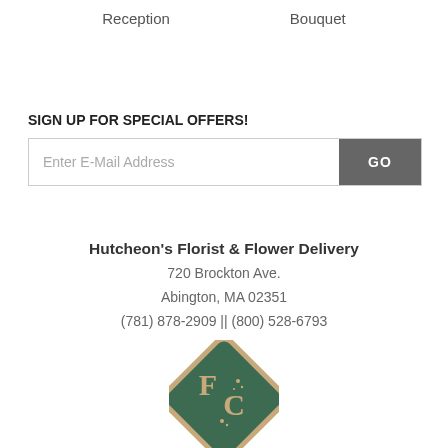Reception    Bouquet
SIGN UP FOR SPECIAL OFFERS!
Enter E-Mail Address  GO
Hutcheon's Florist & Flower Delivery
720 Brockton Ave.
Abington, MA 02351
(781) 878-2909 || (800) 528-6793
[Figure (logo): Diamond-shaped green logo with stylized letters F and C with sparkle stars inside, tan/gold border]